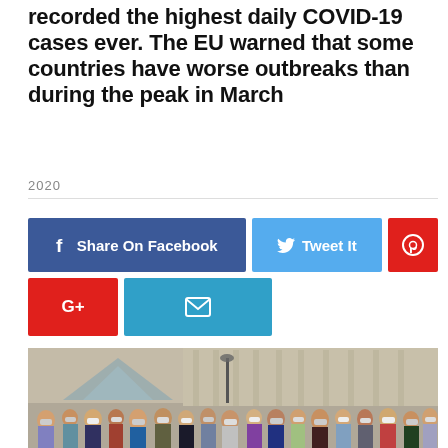recorded the highest daily COVID-19 cases ever. The EU warned that some countries have worse outbreaks than during the peak in March
2020
[Figure (infographic): Social sharing buttons: Share On Facebook (blue), Tweet It (light blue), Pinterest pin (red), Google+ (red), Email/envelope (blue)]
[Figure (photo): Crowd of people wearing face masks outside the Louvre museum in Paris, 2020]